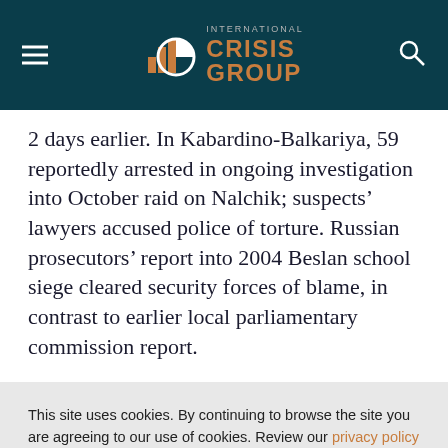International Crisis Group
2 days earlier. In Kabardino-Balkariya, 59 reportedly arrested in ongoing investigation into October raid on Nalchik; suspects' lawyers accused police of torture. Russian prosecutors' report into 2004 Beslan school siege cleared security forces of blame, in contrast to earlier local parliamentary commission report.
This site uses cookies. By continuing to browse the site you are agreeing to our use of cookies. Review our privacy policy for more details.
YES, I AGREE